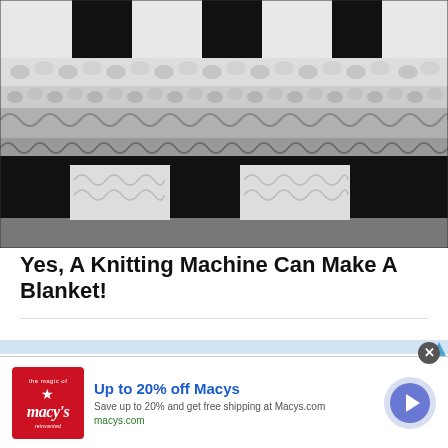[Figure (photo): Close-up photograph of a black and white knitted/crocheted blanket showing detailed stitch texture with alternating black and white pattern blocks]
Yes, A Knitting Machine Can Make A Blanket!
[Figure (screenshot): Advertisement banner for Macys.com showing red Macy's logo, text 'Up to 20% off Macys', 'Save up to 20% and get free shipping at Macys.com', 'macys.com', and a circular arrow button. Has a close X button and an AdChoices indicator.]